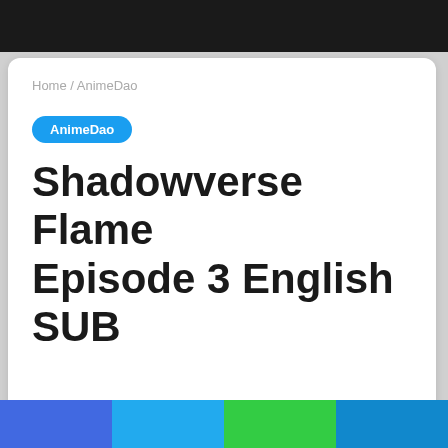Home / AnimeDao
AnimeDao
Shadowverse Flame Episode 3 English SUB